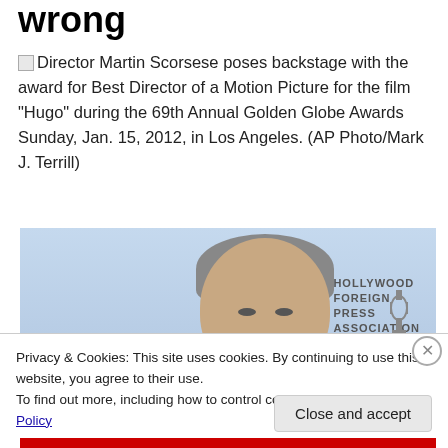wrong
Director Martin Scorsese poses backstage with the award for Best Director of a Motion Picture for the film "Hugo" during the 69th Annual Golden Globe Awards Sunday, Jan. 15, 2012, in Los Angeles. (AP Photo/Mark J. Terrill)
[Figure (photo): Photo of a man (George Clooney) at the 69th Annual Golden Globe Awards, with Hollywood Foreign Press Association backdrop/logo visible]
Privacy & Cookies: This site uses cookies. By continuing to use this website, you agree to their use.
To find out more, including how to control cookies, see here: Cookie Policy
Close and accept